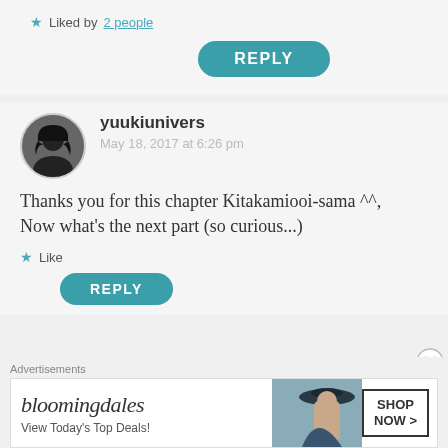★ Liked by 2 people
REPLY
yuukiunivers
May 18, 2017 at 6:26 pm
Thanks you for this chapter Kitakamiooi-sama ^^,
Now what's the next part (so curious...)
★ Like
REPLY
Advertisements
[Figure (other): Bloomingdale's advertisement banner: 'bloomingdales - View Today's Top Deals!' with image of woman in hat and 'SHOP NOW >' button]